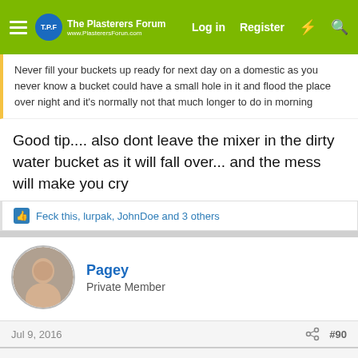The Plasterers Forum — Log in | Register
Never fill your buckets up ready for next day on a domestic as you never know a bucket could have a small hole in it and flood the place over night and it's normally not that much longer to do in morning
Good tip.... also dont leave the mixer in the dirty water bucket as it will fall over... and the mess will make you cry
Feck this, lurpak, JohnDoe and 3 others
Pagey
Private Member
Jul 9, 2016  #90
This site uses cookies to help personalise content, tailor your experience and to keep you logged in if you register.
By continuing to use this site, you are consenting to our use of cookies.